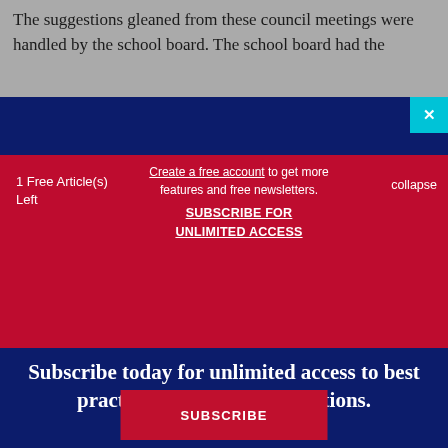The suggestions gleaned from these council meetings were handled by the school board. The school board had the
1 Free Article(s) Left
Create a free account to get more features and free newsletters. SUBSCRIBE FOR UNLIMITED ACCESS
collapse
Subscribe today for unlimited access to best practices, insights, and solutions.
SUBSCRIBE